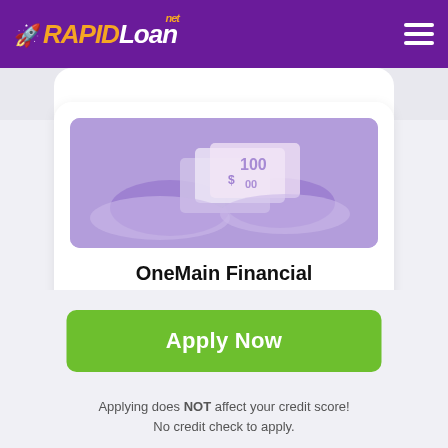RAPID Loan .net
[Figure (photo): Hands holding cash money, purple-tinted monochrome image]
OneMain Financial
[Figure (infographic): Star rating: 3 full purple stars, 1 half purple star, 1 empty star. Rating: 3.9]
Apply Now
Applying does NOT affect your credit score! No credit check to apply.